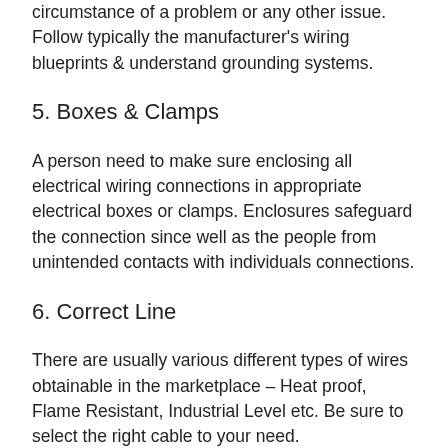circumstance of a problem or any other issue. Follow typically the manufacturer's wiring blueprints & understand grounding systems.
5. Boxes & Clamps
A person need to make sure enclosing all electrical wiring connections in appropriate electrical boxes or clamps. Enclosures safeguard the connection since well as the people from unintended contacts with individuals connections.
6. Correct Line
There are usually various different types of wires obtainable in the marketplace – Heat proof, Flame Resistant, Industrial Level etc. Be sure to select the right cable to your need.